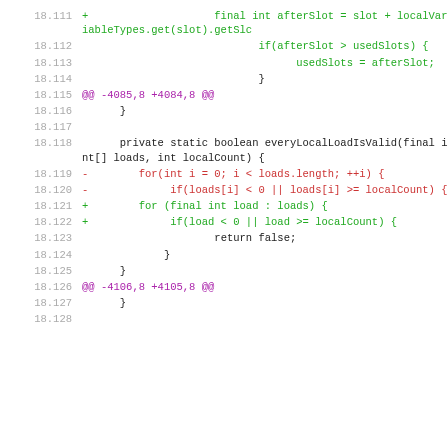18.111  +                    final int afterSlot = slot + localVariableTypes.get(slot).getSlc
18.112                              if(afterSlot > usedSlots) {
18.113                                    usedSlots = afterSlot;
18.114                              }
18.115  @@ -4085,8 +4084,8 @@
18.116        }
18.117
18.118      private static boolean everyLocalLoadIsValid(final int[] loads, int localCount) {
18.119  -        for(int i = 0; i < loads.length; ++i) {
18.120  -             if(loads[i] < 0 || loads[i] >= localCount) {
18.121  +        for (final int load : loads) {
18.122  +             if(load < 0 || load >= localCount) {
18.123                       return false;
18.124                  }
18.125           }
18.126  @@ -4106,8 +4105,8 @@
18.127        }
18.128